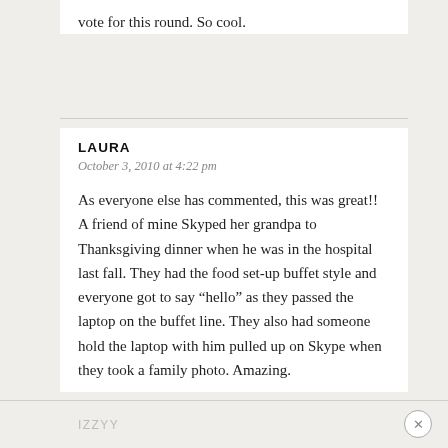vote for this round. So cool.
LAURA
October 3, 2010 at 4:22 pm
As everyone else has commented, this was great!! A friend of mine Skyped her grandpa to Thanksgiving dinner when he was in the hospital last fall. They had the food set-up buffet style and everyone got to say “hello” as they passed the laptop on the buffet line. They also had someone hold the laptop with him pulled up on Skype when they took a family photo. Amazing.
IZZYY